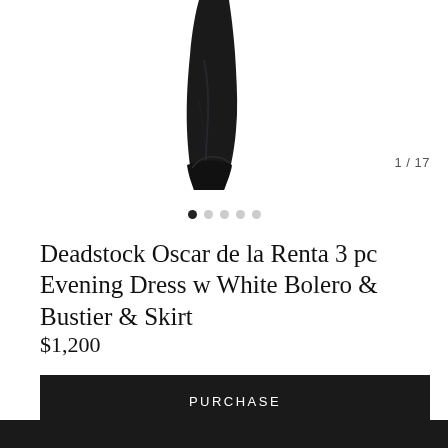[Figure (photo): Partial view of a black fabric/dress garment photographed against white background, cropped at top]
1 / 17
Deadstock Oscar de la Renta 3 pc Evening Dress w White Bolero & Bustier & Skirt
$1,200
PURCHASE
MAKE AN OFFER